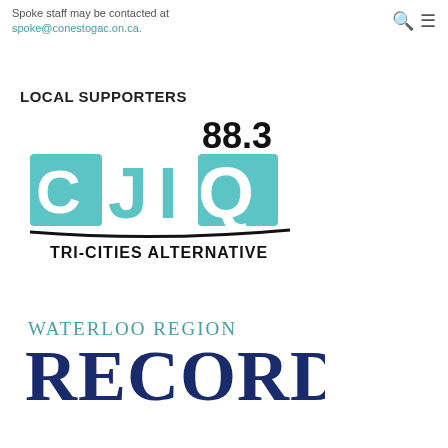Spoke staff may be contacted at spoke@conestogac.on.ca.
LOCAL SUPPORTERS
[Figure (logo): 88.3 CJIQ Tri-Cities Alternative radio station logo in teal and black]
[Figure (logo): Waterloo Region Record newspaper logo in teal and dark navy blue]